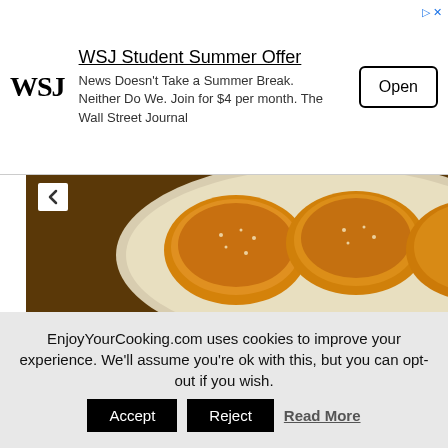[Figure (screenshot): WSJ Student Summer Offer advertisement banner with WSJ logo, ad text, and Open button]
[Figure (photo): Close-up photo of madeleine butter cakes on a plate, dusted with sugar, with copyright watermark '© www.EnjoyYourCooking.com']
It is easy to fell in love with those little butter cakes the first time you try them: it is exactly what happened to me :), I had to find the recipe. And then I've got hooked: every time I have extra 30 mins and a mood for baking – I am preparing madeleines.
EnjoyYourCooking.com uses cookies to improve your experience. We'll assume you're ok with this, but you can opt-out if you wish. Accept Reject Read More